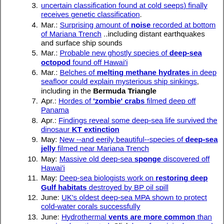Mar.: Surprising amount of noise recorded at bottom of Mariana Trench ..including distant earthquakes and surface ship sounds
Mar.: Probable new ghostly species of deep-sea octopod found off Hawai'i
Mar.: Belches of melting methane hydrates in deep seafloor could explain mysterious ship sinkings, including in the Bermuda Triangle
Apr.: Hordes of 'zombie' crabs filmed deep off Panama
Apr.: Findings reveal some deep-sea life survived the dinosaur KT extinction
May: New --and eerily beautiful--species of deep-sea jelly filmed near Mariana Trench
May: Massive old deep-sea sponge discovered off Hawai'i
May: Deep-sea biologists work on restoring deep Gulf habitats destroyed by BP oil spill
June: UK's oldest deep-sea MPA shown to protect cold-water corals successfully
June: Hydrothermal vents are more common than previously estimated; Click here for original research article (Sept. 1)
June: Glass squids have "inefficient" photophores which may aid in camouflage